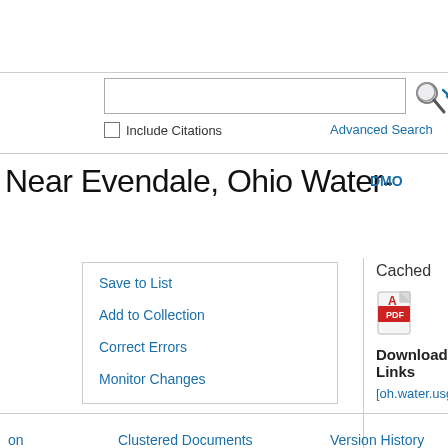[Figure (screenshot): Search bar with text input field and search icon]
Include Citations
Advanced Search
Near Evendale, Ohio Water-
DMO
Save to List
Add to Collection
Correct Errors
Monitor Changes
Cached
[Figure (other): PDF icon]
Download Links
[oh.water.usgs.gov]
on    Clustered Documents    Version History